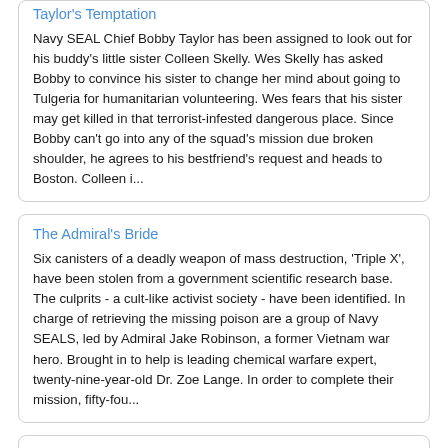Taylor's Temptation
Navy SEAL Chief Bobby Taylor has been assigned to look out for his buddy's little sister Colleen Skelly. Wes Skelly has asked Bobby to convince his sister to change her mind about going to Tulgeria for humanitarian volunteering. Wes fears that his sister may get killed in that terrorist-infested dangerous place. Since Bobby can't go into any of the squad's mission due broken shoulder, he agrees to his bestfriend's request and heads to Boston. Colleen i...
The Admiral's Bride
Six canisters of a deadly weapon of mass destruction, 'Triple X', have been stolen from a government scientific research base. The culprits - a cult-like activist society - have been identified. In charge of retrieving the missing poison are a group of Navy SEALS, led by Admiral Jake Robinson, a former Vietnam war hero. Brought in to help is leading chemical warfare expert, twenty-nine-year-old Dr. Zoe Lange. In order to complete their mission, fifty-fou...
The Kissing Game
Frankie Paresky and Simon Hunt has been the best of friends since childhood. Now that they're adults, Frankie keeps having lustful thoughts toward Simon. Simon feels the same way. However Frankie knows that it'll be a mistake to act on her feelings because Simon is known to be the Sunrise Key's cassanova – he dates and sleeps with